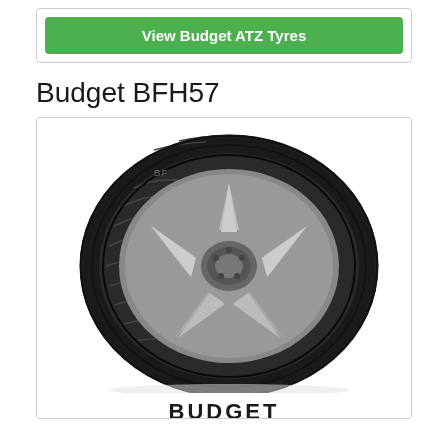View Budget ATZ Tyres
Budget BFH57
[Figure (photo): Photo of a Budget BFH57 car tyre mounted on a silver alloy wheel, shown at a slight angle. The tyre has prominent longitudinal grooves and lateral siping on the tread. The sidewall shows the Budget brand name.]
BUDGET